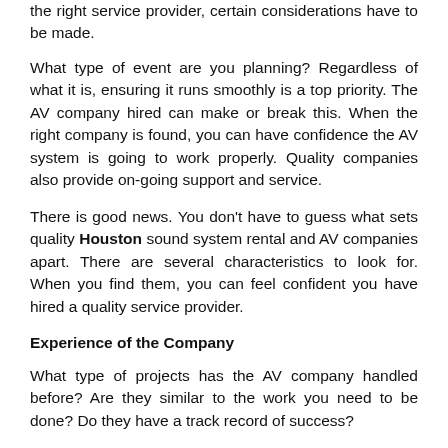the right service provider, certain considerations have to be made.
What type of event are you planning? Regardless of what it is, ensuring it runs smoothly is a top priority. The AV company hired can make or break this. When the right company is found, you can have confidence the AV system is going to work properly. Quality companies also provide on-going support and service.
There is good news. You don't have to guess what sets quality Houston sound system rental and AV companies apart. There are several characteristics to look for. When you find them, you can feel confident you have hired a quality service provider.
Experience of the Company
What type of projects has the AV company handled before? Are they similar to the work you need to be done? Do they have a track record of success?
The fact is, it takes many years of experience to provide excellent results. This is particularly the case for the innovative audio and video industry. Make sure you find out how long the contractor has been providing services. Also, ask about the experience of anyone else working on your project. This may include the programmer, project manager, and installers. How